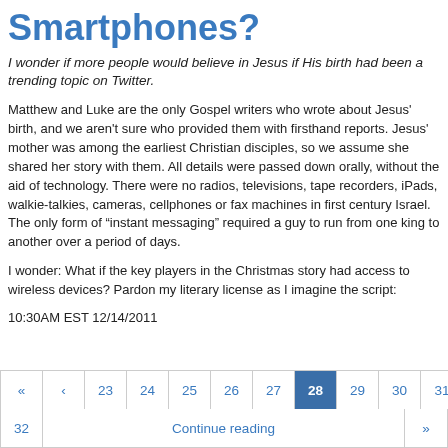Smartphones?
I wonder if more people would believe in Jesus if His birth had been a trending topic on Twitter.
Matthew and Luke are the only Gospel writers who wrote about Jesus' birth, and we aren't sure who provided them with firsthand reports. Jesus' mother was among the earliest Christian disciples, so we assume she shared her story with them. All details were passed down orally, without the aid of technology. There were no radios, televisions, tape recorders, iPads, walkie-talkies, cameras, cellphones or fax machines in first century Israel. The only form of “instant messaging” required a guy to run from one king to another over a period of days.
I wonder: What if the key players in the Christmas story had access to wireless devices? Pardon my literary license as I imagine the script:
10:30AM EST 12/14/2011
« ‹ 23 24 25 26 27 28 29 30 31 32 Continue reading »